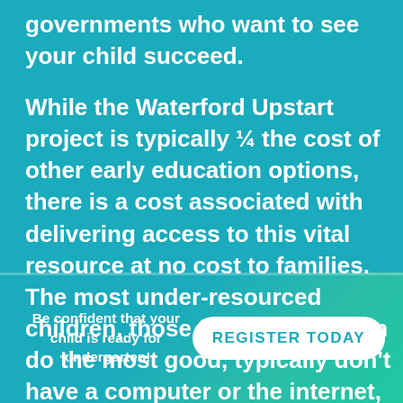governments who want to see your child succeed.
While the Waterford Upstart project is typically ¼ the cost of other early education options, there is a cost associated with delivering access to this vital resource at no cost to families. The most under-resourced children, those for whom we can do the most good, typically don't have a computer or the internet, and
Be confident that your child is ready for kindergarten!
REGISTER TODAY